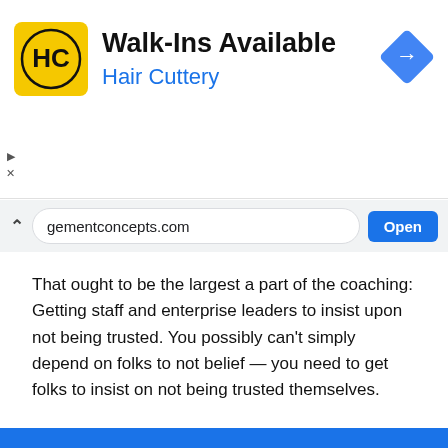[Figure (screenshot): Hair Cuttery advertisement banner with yellow logo showing HC letters, Walk-Ins Available title, Hair Cuttery subtitle, and blue diamond direction arrow icon]
[Figure (screenshot): Mobile browser URL bar showing gementconcepts.com with Open button]
That ought to be the largest a part of the coaching: Getting staff and enterprise leaders to insist upon not being trusted. You possibly can't simply depend on folks to not belief — you need to get folks to insist on not being trusted themselves.
If a senior chief sends an attachment to a subordinate, and the subordinate merely downloads and opens it with out an extra step of verification (say, calling and asking), that ought to be seen by the chief as a critical breach of safety practices.